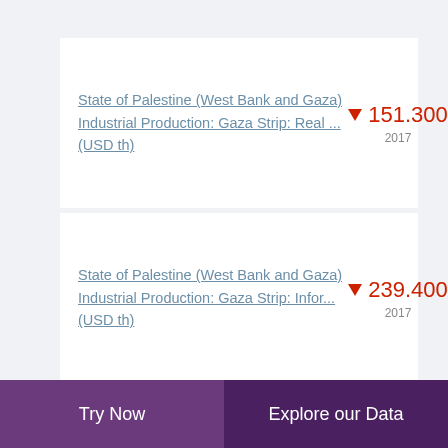State of Palestine (West Bank and Gaza) Industrial Production: Gaza Strip: Real ... (USD th)
State of Palestine (West Bank and Gaza) Industrial Production: Gaza Strip: Infor... (USD th)
State of Palestine (West Bank and Gaza) Industrial Production: Gaza Strip: Compu... (USD th)
Try Now | Explore our Data